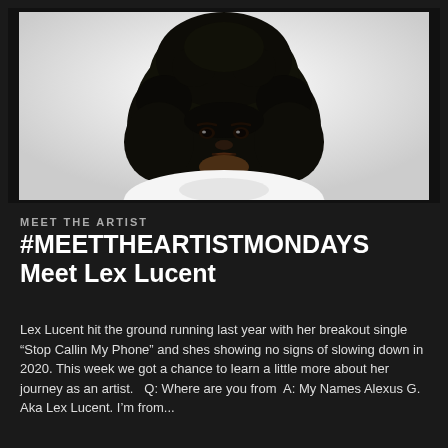[Figure (photo): Portrait of Lex Lucent, a young Black woman with a large natural afro hairstyle, wearing a white fluffy sweater, photographed against a white background]
MEET THE ARTIST
#MEETTHEARTISTMONDAYS
Meet Lex Lucent
Lex Lucent hit the ground running last year with her breakout single “Stop Callin My Phone” and shes showing no signs of slowing down in 2020. This week we got a chance to learn a little more about her journey as an artist.   Q: Where are you from   A: My Names Alexus G. Aka Lex Lucent. I’m from...